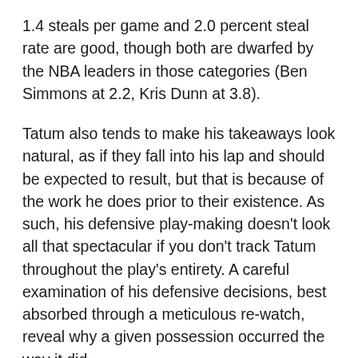1.4 steals per game and 2.0 percent steal rate are good, though both are dwarfed by the NBA leaders in those categories (Ben Simmons at 2.2, Kris Dunn at 3.8).
Tatum also tends to make his takeaways look natural, as if they fall into his lap and should be expected to result, but that is because of the work he does prior to their existence. As such, his defensive play-making doesn't look all that spectacular if you don't track Tatum throughout the play's entirety. A careful examination of his defensive decisions, best absorbed through a meticulous re-watch, reveal why a given possession occurred the way it did.
He is not always flying in from the weak-side or gambling at the expense of a schematic foundation, styles that tend to captivate the viewer in a way Tatum's artistry does not. Instead, he is a master of positioning and arguably the